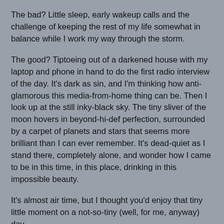The bad? Little sleep, early wakeup calls and the challenge of keeping the rest of my life somewhat in balance while I work my way through the storm.
The good? Tiptoeing out of a darkened house with my laptop and phone in hand to do the first radio interview of the day. It's dark as sin, and I'm thinking how anti-glamorous this media-from-home thing can be. Then I look up at the still inky-black sky. The tiny sliver of the moon hovers in beyond-hi-def perfection, surrounded by a carpet of planets and stars that seems more brilliant than I can ever remember. It's dead-quiet as I stand there, completely alone, and wonder how I came to be in this time, in this place, drinking in this impossible beauty.
It's almost air time, but I thought you'd enjoy that tiny little moment on a not-so-tiny (well, for me, anyway) day.
If you're in a reading mood, I wrote the following two articles, too:
The Toronto Star. iPhone5 more of an evolution